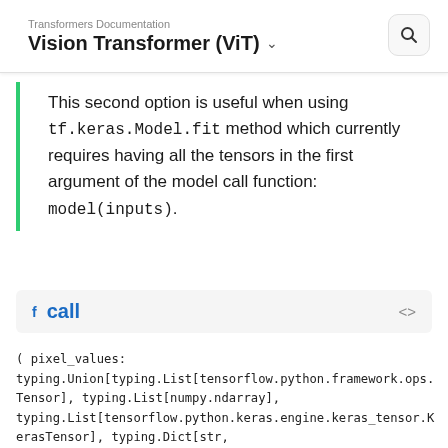Transformers Documentation
Vision Transformer (ViT)
This second option is useful when using tf.keras.Model.fit method which currently requires having all the tensors in the first argument of the model call function: model(inputs).
call
( pixel_values: typing.Union[typing.List[tensorflow.python.framework.ops.Tensor], typing.List[numpy.ndarray], typing.List[tensorflow.python.keras.engine.keras_tensor.KerasTensor], typing.Dict[str, tensorflow.python.framework.ops.Tensor], typing.Dict[str, numpy.ndarray], typing.Dict[str, tensorflow.python.keras.engine.keras_tensor.KerasTensor], tensorflow.python.framework.ops.Tensor, numpy.ndarray, tensorflow.python.keras.engine.keras_tensor.KerasTensor,